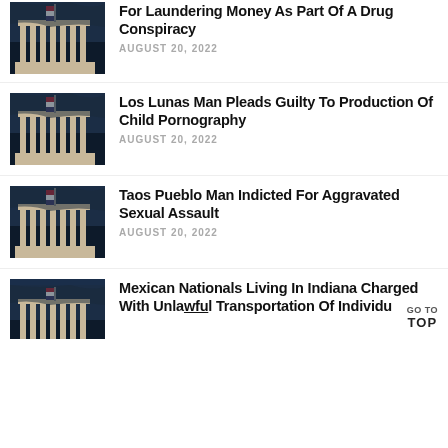[Figure (photo): Government building with US flag, dark blue sky, columns visible - thumbnail]
For Laundering Money As Part Of A Drug Conspiracy
AUGUST 20, 2022
[Figure (photo): Government building with US flag, dark blue sky, columns visible - thumbnail]
Los Lunas Man Pleads Guilty To Production Of Child Pornography
AUGUST 20, 2022
[Figure (photo): Government building with US flag, dark blue sky, columns visible - thumbnail]
Taos Pueblo Man Indicted For Aggravated Sexual Assault
AUGUST 20, 2022
[Figure (photo): Government building with US flag, dark blue sky, columns visible - thumbnail]
Mexican Nationals Living In Indiana Charged With Unlawful Transportation Of Individu...